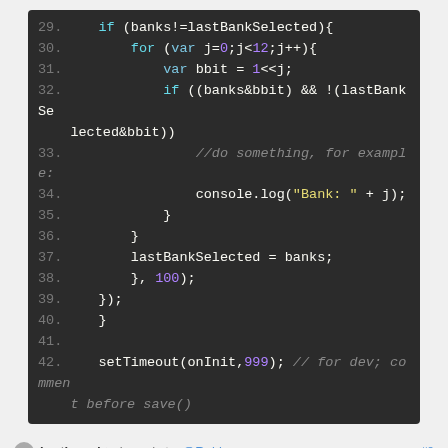[Figure (screenshot): Code editor screenshot showing JavaScript lines 29-42 with syntax highlighting on dark background]
bertjerred → in reply to @Robin   a year ago · #8
Thank you very much for this advice, and for your